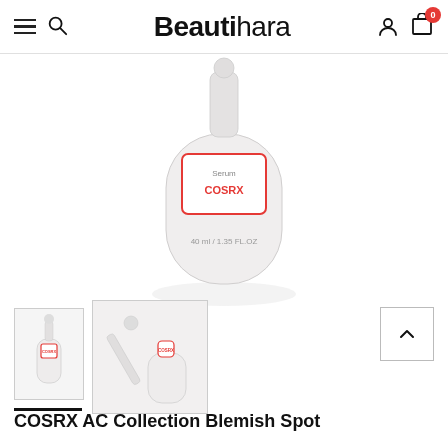Beautihara — navigation header with menu, search, account, and cart icons
[Figure (photo): COSRX serum bottle product photo, white frosted bottle with red label, 40ml/1.35 FL.OZ, centered on white background]
[Figure (photo): Thumbnail 1: small COSRX bottle with dropper, front view]
[Figure (photo): Thumbnail 2: COSRX bottle with dropper open, product detail view]
COSRX AC Collection Blemish Spot